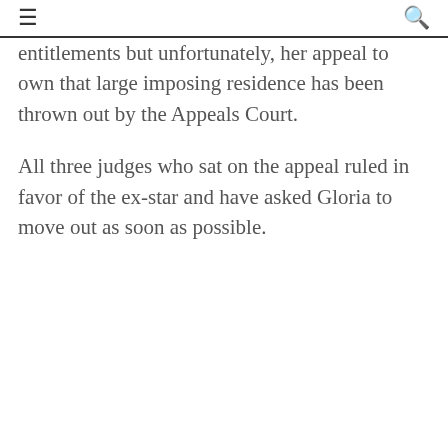≡  🔍
entitlements but unfortunately, her appeal to own that large imposing residence has been thrown out by the Appeals Court.
All three judges who sat on the appeal ruled in favor of the ex-star and have asked Gloria to move out as soon as possible.